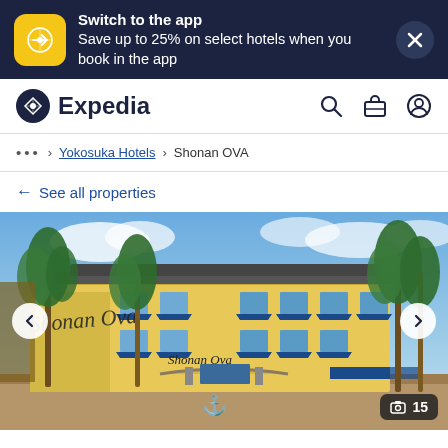Switch to the app
Save up to 25% on select hotels when you book in the app
[Figure (logo): Expedia navigation bar with logo, search, bag and user icons]
... > Yokosuka Hotels > Shonan OVA
← See all properties
[Figure (photo): Exterior photo of Shonan Ova hotel, a yellow building with blue striped awnings, palm trees and an anchor sign. Navigation arrows on sides. Photo count badge showing 15.]